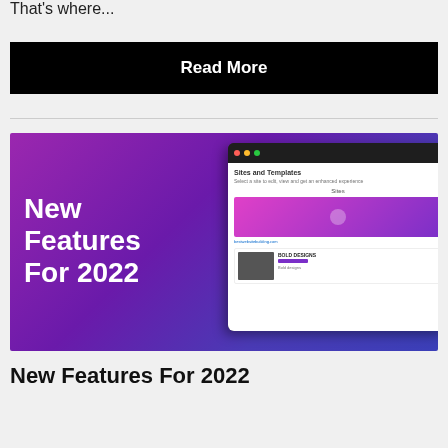That's where...
[Figure (other): Black button with white bold text reading 'Read More']
[Figure (illustration): Promotional image with purple gradient background showing 'New Features For 2022' in white bold text on the left, and a browser mockup on the right showing a 'Sites and Templates' page with site cards including 'BOLD DESIGNS']
New Features For 2022